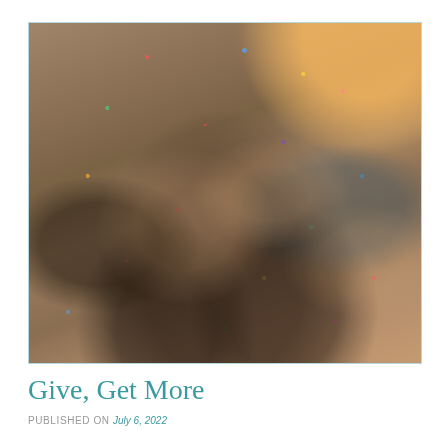[Figure (photo): Overhead/bird's-eye view of a group of young people sitting in a circle on a brick/stone ground, reaching their hands toward the center, with colorful confetti falling all around them. One person in the center stands with arms raised. Warm orange light glows from the top-right corner.]
Give, Get More
PUBLISHED ON July 6, 2022